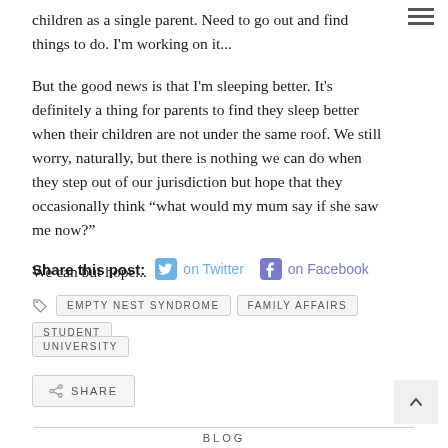children as a single parent. Need to go out and find things to do. I'm working on it...
But the good news is that I'm sleeping better. It's definitely a thing for parents to find they sleep better when their children are not under the same roof. We still worry, naturally, but there is nothing we can do when they step out of our jurisdiction but hope that they occasionally think “what would my mum say if she saw me now?”
We can but hope...
Share this post: on Twitter on Facebook
EMPTY NEST SYNDROME FAMILY AFFAIRS STUDENT UNIVERSITY
SHARE
BLOG